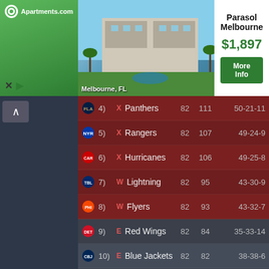[Figure (screenshot): Apartments.com advertisement banner for Parasol Melbourne, Melbourne FL, showing $1,897 price and More Info button]
| # | Conf | Team | GP | PTS | Record |
| --- | --- | --- | --- | --- | --- |
| 4) | X | Panthers | 82 | 111 | 50-21-11 |
| 5) | X | Rangers | 82 | 107 | 49-24-9 |
| 6) | X | Hurricanes | 82 | 106 | 49-25-8 |
| 7) | W | Lightning | 82 | 95 | 43-30-9 |
| 8) | W | Flyers | 82 | 93 | 43-32-7 |
| 9) | E | Red Wings | 82 | 84 | 35-33-14 |
| 10) | E | Blue Jackets | 82 | 82 | 38-38-6 |
| 11) | E | Islanders | 82 | 78 | 32-36-14 |
| 12) | E | Penguins | 82 | 72 | 32-42-8 |
| 13) | E | Maple Leafs | 82 | 71 | 32-43-7 |
| 14) | E | Devils | 82 | 66 | 30-46-6 |
| 15) | E | Bruins | 82 | 62 | 28-48-6 |
| 16) | E | Senators | 82 | 59 | 25-48-9 |